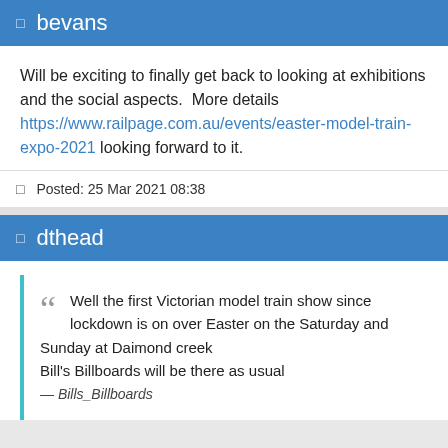bevans
Will be exciting to finally get back to looking at exhibitions and the social aspects.  More details https://www.railpage.com.au/events/easter-model-train-expo-2021 looking forward to it.
Posted: 25 Mar 2021 08:38
dthead
Well the first Victorian model train show since lockdown is on over Easter on the Saturday and Sunday at Daimond creek
Bill's Billboards will be there as usual
— Bills_Billboards